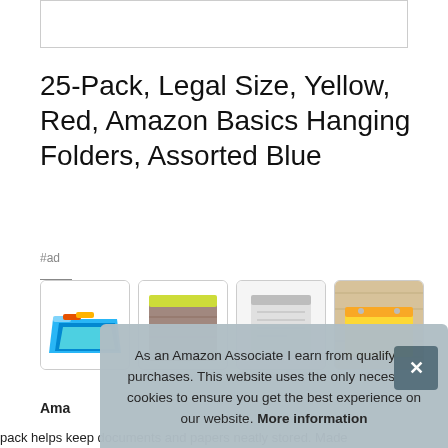[Figure (photo): Top image placeholder box (white rectangle with border)]
25-Pack, Legal Size, Yellow, Red, Amazon Basics Hanging Folders, Assorted Blue
#ad
[Figure (photo): Thumbnail 1: blue hanging folders stacked]
[Figure (photo): Thumbnail 2: brown/tan hanging folder with yellow top edge]
[Figure (photo): Thumbnail 3: white/light colored folder]
[Figure (photo): Thumbnail 4: yellow folder on wood surface]
Ama
pack helps keep documents and papers neatly stored. Made
As an Amazon Associate I earn from qualifying purchases. This website uses the only necessary cookies to ensure you get the best experience on our website. More information